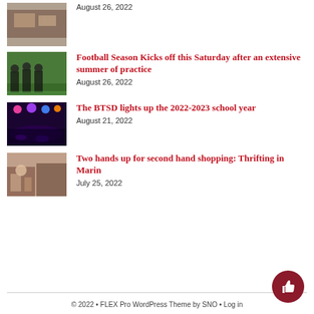[Figure (photo): Thumbnail image of people at a table, partially visible at top]
August 26, 2022
[Figure (photo): Football players standing on a field]
Football Season Kicks off this Saturday after an extensive summer of practice
August 26, 2022
[Figure (photo): Concert or event with lights and crowd]
The BTSD lights up the 2022-2023 school year
August 21, 2022
[Figure (photo): People shopping, thrift store scene]
Two hands up for second hand shopping: Thrifting in Marin
July 25, 2022
© 2022 • FLEX Pro WordPress Theme by SNO • Log in